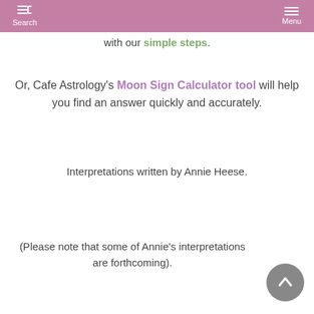Search | Menu
with our simple steps.
Or, Cafe Astrology's Moon Sign Calculator tool will help you find an answer quickly and accurately.
Interpretations written by Annie Heese.
(Please note that some of Annie's interpretations are forthcoming).